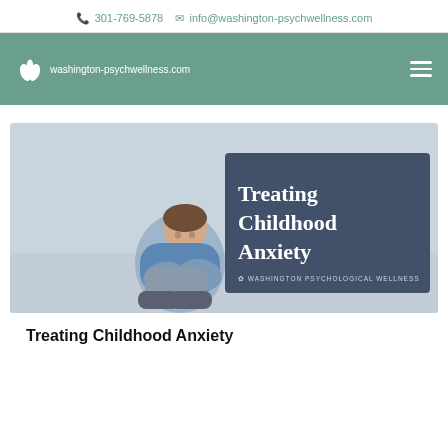301-769-5878   info@washington-psychwellness.com
[Figure (logo): Washington Psychological Wellness navigation bar with leaf logo and washington-psychwellness.com text, teal/green background, hamburger menu icon on right]
[Figure (photo): A young boy sitting curled up against a wall with arms around knees, looking distressed. Dark blue overlay panel on right side reads 'Treating Childhood Anxiety' with Washington Psychological Wellness branding.]
Treating Childhood Anxiety